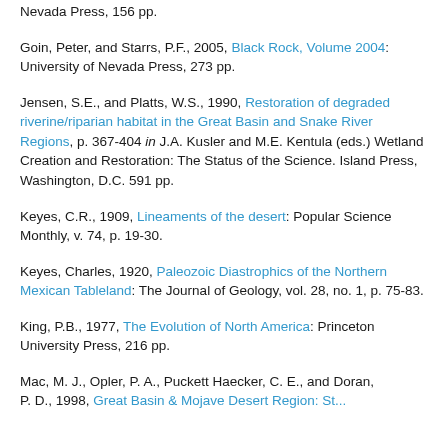Nevada Press, 156 pp.
Goin, Peter, and Starrs, P.F., 2005, Black Rock, Volume 2004: University of Nevada Press, 273 pp.
Jensen, S.E., and Platts, W.S., 1990, Restoration of degraded riverine/riparian habitat in the Great Basin and Snake River Regions, p. 367-404 in J.A. Kusler and M.E. Kentula (eds.) Wetland Creation and Restoration: The Status of the Science. Island Press, Washington, D.C. 591 pp.
Keyes, C.R., 1909, Lineaments of the desert: Popular Science Monthly, v. 74, p. 19-30.
Keyes, Charles, 1920, Paleozoic Diastrophics of the Northern Mexican Tableland: The Journal of Geology, vol. 28, no. 1, p. 75-83.
King, P.B., 1977, The Evolution of North America: Princeton University Press, 216 pp.
Mac, M. J., Opler, P. A., Puckett Haecker, C. E., and Doran, P. D., 1998, Great Basin & Mojave Desert Region: Status...